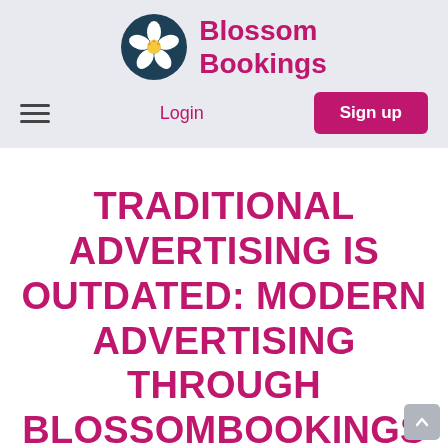[Figure (logo): Blossom Bookings logo: circular dark teal background with white cherry blossom flower, beside bold pink text 'Blossom Bookings']
≡  Login  Sign up
TRADITIONAL ADVERTISING IS OUTDATED: MODERN ADVERTISING THROUGH BLOSSOMBOOKINGS